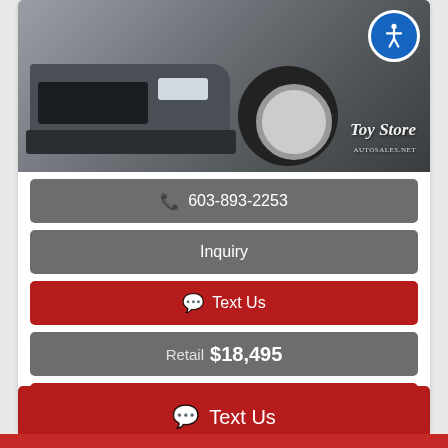[Figure (photo): Front view of a gray Chevrolet pickup truck in a parking lot, with Toy Store Auto Sales watermark in bottom right and accessibility badge in top right corner]
603-893-2253
Inquiry
Text Us
Retail $18,495
Price Drop Notifications
Text Us